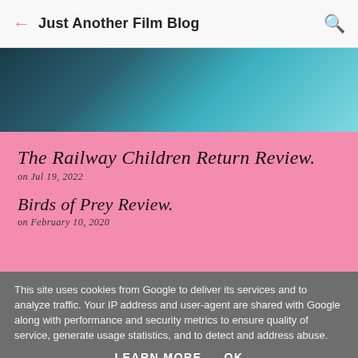Just Another Film Blog
[Figure (photo): Abstract blurred teal and dark blue gradient hero image banner]
The Railway Children Return Review
on Jul 19, 2022
Birds of Prey Review
on February 10, 2020
This site uses cookies from Google to deliver its services and to analyze traffic. Your IP address and user-agent are shared with Google along with performance and security metrics to ensure quality of service, generate usage statistics, and to detect and address abuse.
LEARN MORE   OK